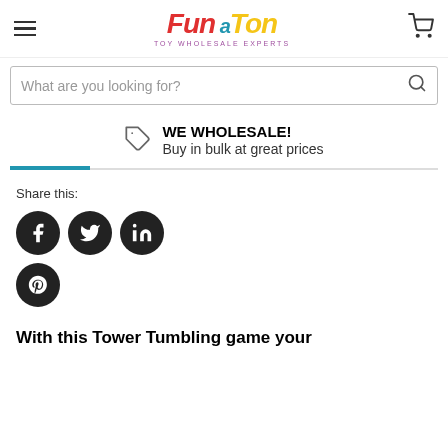Fun a Ton — TOY WHOLESALE EXPERTS
What are you looking for?
WE WHOLESALE!
Buy in bulk at great prices
Share this:
[Figure (other): Social media share icons: Facebook, Twitter, LinkedIn, Pinterest]
With this Tower Tumbling game your